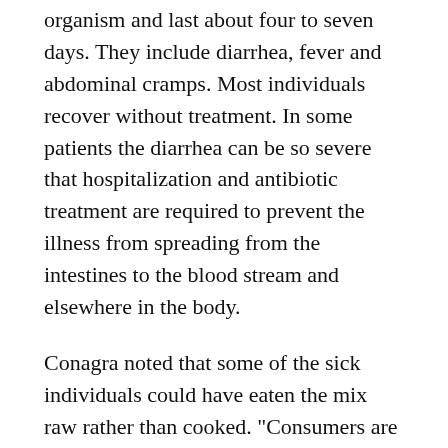organism and last about four to seven days. They include diarrhea, fever and abdominal cramps. Most individuals recover without treatment. In some patients the diarrhea can be so severe that hospitalization and antibiotic treatment are required to prevent the illness from spreading from the intestines to the blood stream and elsewhere in the body.
Conagra noted that some of the sick individuals could have eaten the mix raw rather than cooked. "Consumers are reminded not to consume any raw batter. Cake mixes and batter can be made with ingredients such as eggs or flour which can carry risks of bacteria that are rendered harmless by baking, frying or boiling," the Conagra statement